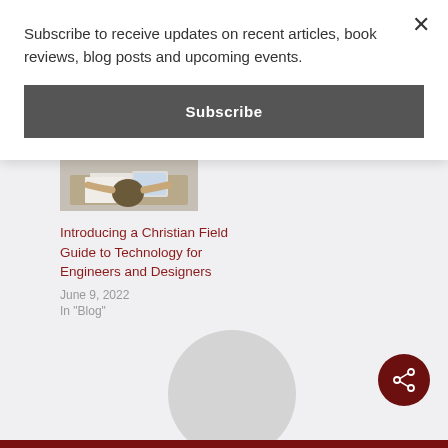Subscribe to receive updates on recent articles, book reviews, blog posts and upcoming events.
Subscribe
[Figure (photo): Top-down view of a person sitting at a desk with papers and a tablet/book]
Introducing a Christian Field Guide to Technology for Engineers and Designers
June 9, 2022
In "Blog"